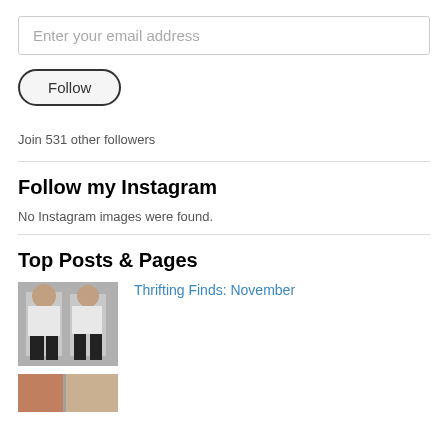Enter your email address
Follow
Join 531 other followers
Follow my Instagram
No Instagram images were found.
Top Posts & Pages
[Figure (photo): Two women posing in fashion outfits, gray background]
Thrifting Finds: November
[Figure (photo): Partially visible fashion photo thumbnail at the bottom]